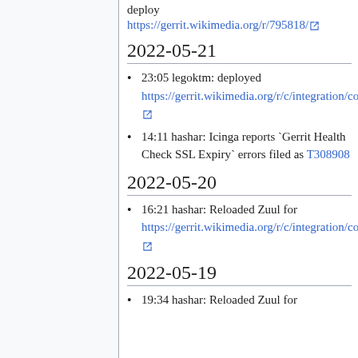deploy https://gerrit.wikimedia.org/r/795818/
2022-05-21
23:05 legoktm: deployed https://gerrit.wikimedia.org/r/c/integration/config/+/794756/
14:11 hashar: Icinga reports `Gerrit Health Check SSL Expiry` errors filed as T308908
2022-05-20
16:21 hashar: Reloaded Zuul for https://gerrit.wikimedia.org/r/c/integration/config/+/793809
2022-05-19
19:34 hashar: Reloaded Zuul for